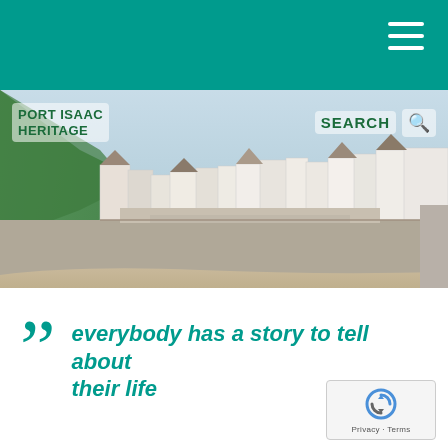Port Isaac Heritage — navigation header with hamburger menu
[Figure (photo): Aerial view of Port Isaac harbour showing colourful fishing boats moored in a teal-blue bay, with sandy beach, stone harbour wall, and whitewashed cottages in the background]
PORT ISAAC HERITAGE
SEARCH
everybody has a story to tell about their life